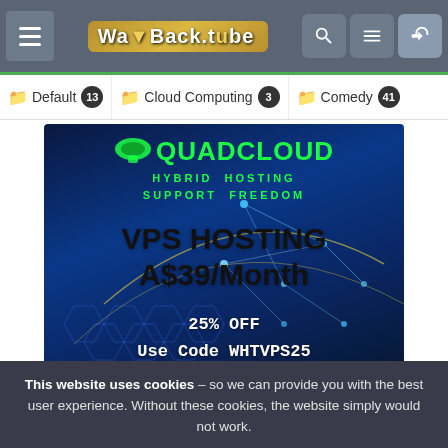WayBack.tube navigation bar with hamburger menu, logo, search, menu, and login icons
Default 13   Cloud Computing 3   Comedy 41
[Figure (illustration): QuadCloud advertisement banner: VPS Hosting A$39/Month, 25% OFF, Use Code WHTVPS25, with network visualization background]
This website uses cookies – so we can provide you with the best user experience. Without these cookies, the website simply would not work.